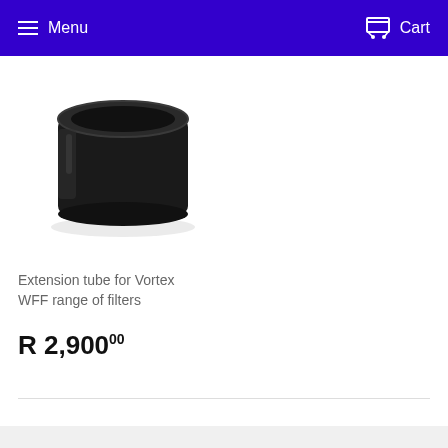Menu  Cart
[Figure (photo): A black cylindrical extension tube for Vortex WFF range of filters, viewed from a slight angle showing the top and side.]
Extension tube for Vortex WFF range of filters
R 2,900.00